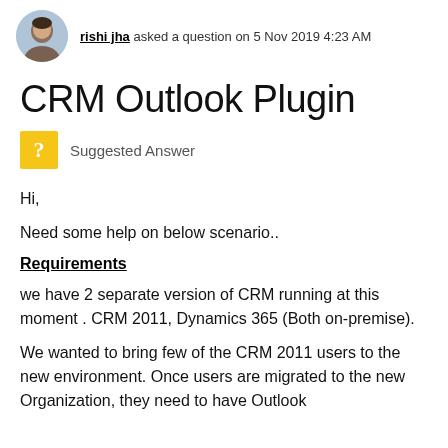rishi jha asked a question on 5 Nov 2019 4:23 AM
CRM Outlook Plugin
Suggested Answer
Hi,
Need some help on below scenario..
Requirements
we have 2 separate version of CRM running at this moment . CRM 2011, Dynamics 365 (Both on-premise).
We wanted to bring few of the CRM 2011 users to the new environment. Once users are migrated to the new Organization, they need to have Outlook configure and be migrated from old CRM 2011 to th...